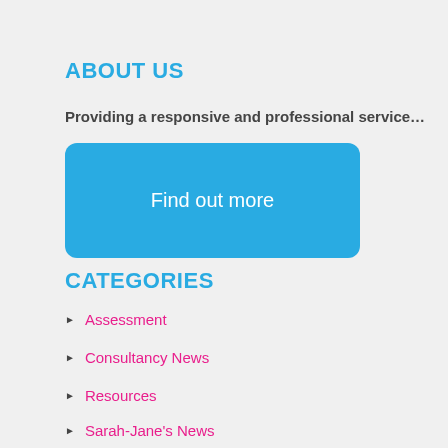ABOUT US
Providing a responsive and professional service…
[Figure (other): Blue rounded rectangle button with text 'Find out more']
CATEGORIES
Assessment
Consultancy News
Resources
Sarah-Jane's News
Training